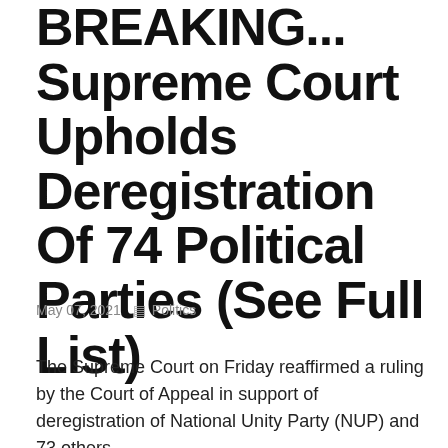BREAKING... Supreme Court Upholds Deregistration Of 74 Political Parties (See Full List)
May 07, 2021  Politics
The Supreme Court on Friday reaffirmed a ruling by the Court of Appeal in support of deregistration of National Unity Party (NUP) and 73 others.